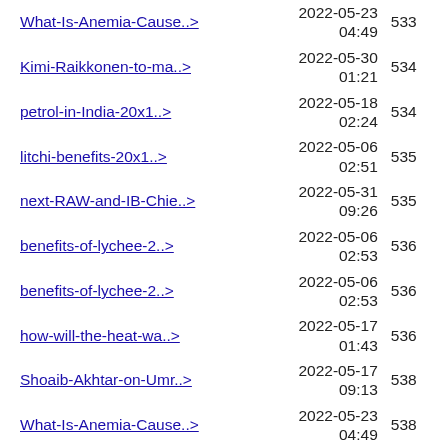What-Is-Anemia-Cause..> | 2022-05-23 04:49 | 533
Kimi-Raikkonen-to-ma..> | 2022-05-30 01:21 | 534
petrol-in-India-20x1..> | 2022-05-18 02:24 | 534
litchi-benefits-20x1..> | 2022-05-06 02:51 | 535
next-RAW-and-IB-Chie..> | 2022-05-31 09:26 | 535
benefits-of-lychee-2..> | 2022-05-06 02:53 | 536
benefits-of-lychee-2..> | 2022-05-06 02:53 | 536
how-will-the-heat-wa..> | 2022-05-17 01:43 | 536
Shoaib-Akhtar-on-Umr..> | 2022-05-17 09:13 | 538
What-Is-Anemia-Cause..> | 2022-05-23 04:49 | 538
how-will-the-heat-wa..> | 2022-05-17 01:43 | 539
2022-05-23 ...